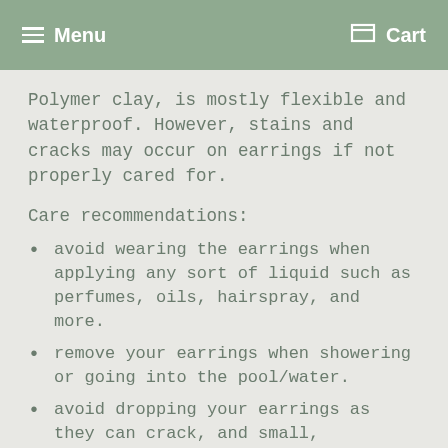Menu  Cart
Polymer clay, is mostly flexible and waterproof. However, stains and cracks may occur on earrings if not properly cared for.
Care recommendations:
avoid wearing the earrings when applying any sort of liquid such as perfumes, oils, hairspray, and more.
remove your earrings when showering or going into the pool/water.
avoid dropping your earrings as they can crack, and small, intricate parts on the earrings can break off due to the impact.
when not in use or when traveling, store them in a